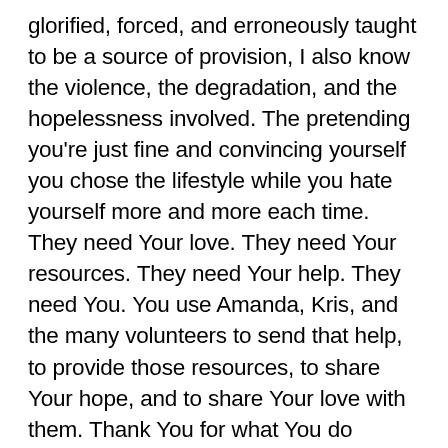glorified, forced, and erroneously taught to be a source of provision, I also know the violence, the degradation, and the hopelessness involved. The pretending you're just fine and convincing yourself you chose the lifestyle while you hate yourself more and more each time. They need Your love. They need Your resources. They need Your help. They need You. You use Amanda, Kris, and the many volunteers to send that help, to provide those resources, to share Your hope, and to share Your love with them. Thank You for what You do through her. I am grateful for her heart, and blessed to call her friend. Thank You for each time You allow me to take part in any way,